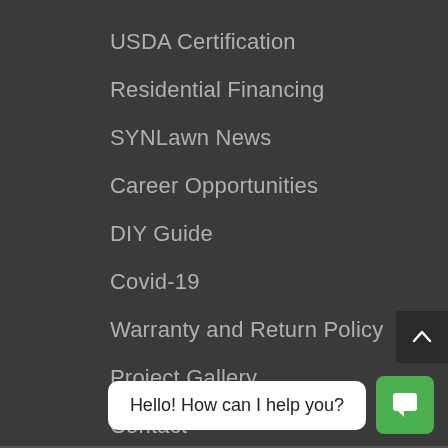USDA Certification
Residential Financing
SYNLawn News
Career Opportunities
DIY Guide
Covid-19
Warranty and Return Policy
Project Gallery
Contact
Hello! How can I help you?